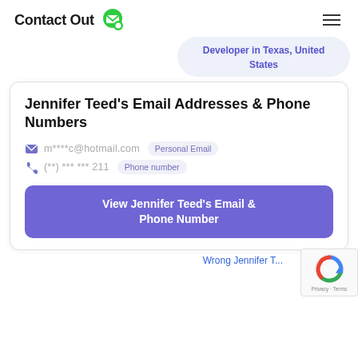ContactOut
Developer in Texas, United States
Jennifer Teed's Email Addresses & Phone Numbers
m****c@hotmail.com  Personal Email
(**) *** *** 211  Phone number
View Jennifer Teed's Email & Phone Number
Wrong Jennifer T...